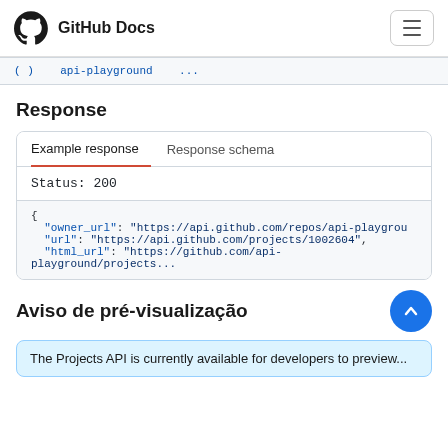GitHub Docs
( ) ...  api-playground  ...  2
Response
Example response	Response schema
Status: 200
{
  "owner_url": "https://api.github.com/repos/api-playgrou
  "url": "https://api.github.com/projects/1002604",
  "html_url": "https://github.com/api-playground/projects...
Aviso de pré-visualização
The Projects API is currently available for developers to preview...